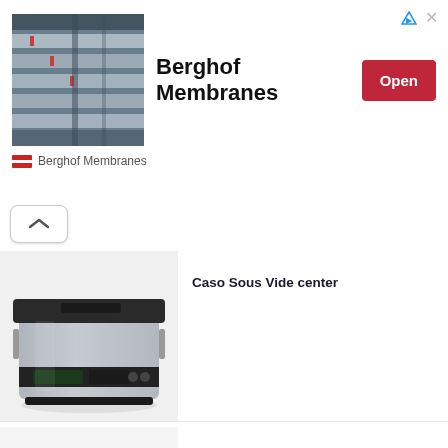[Figure (photo): Advertisement banner for Berghof Membranes showing industrial pipe/membrane infrastructure image on left, bold text 'Berghof Membranes' in center, and a red 'Open' button on the right. Footer row shows flag icon and 'Berghof Membranes' brand name.]
[Figure (photo): Caso Sous Vide center kitchen appliance — a stainless steel sous vide machine with a slot on top and digital controls on the front.]
Caso Sous Vide center
[Figure (photo): World's First Roast-Grind-Brew Coffee Machine: Bonaverde — exploded/cutaway view showing internal components including green, gray, red, and tan colored sections.]
World's First Roast-Grind-Brew Coffee Machine: Bonaverde revolution is brewing!